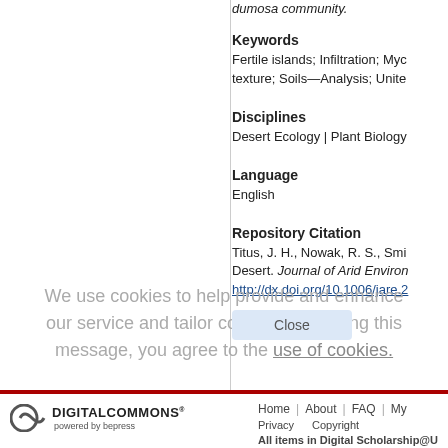dumosa community.
Keywords
Fertile islands; Infiltration; Myc texture; Soils—Analysis; Unite
Disciplines
Desert Ecology | Plant Biology
Language
English
Repository Citation
Titus, J. H., Nowak, R. S., Smi Desert. Journal of Arid Environ http://dx.doi.org/10.1006/jare.2
We use cookies to help provide and enhance our service and tailor content. By closing this message, you agree to the use of cookies.
[Figure (logo): Digital Commons powered by bepress logo]
Home | About | FAQ | My Privacy Copyright All items in Digital Scholarship@U